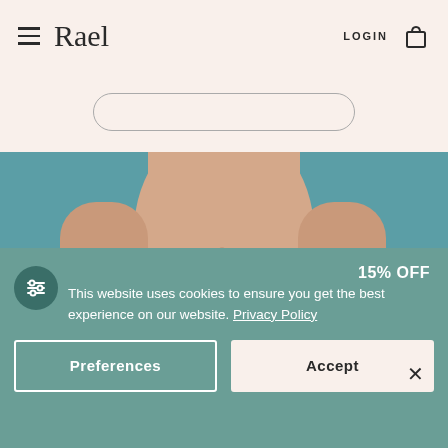Rael — LOGIN
[Figure (photo): Torso of a person with a red wave illustration (Hokusai-style) on their lower abdomen, against a teal background]
This website uses cookies to ensure you get the best experience on our website. Privacy Policy
15% OFF
Preferences
Accept